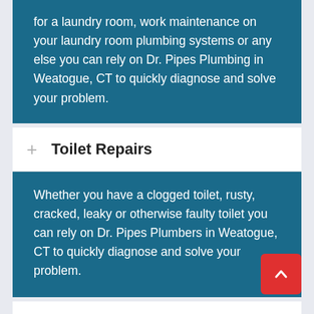for a laundry room, work maintenance on your laundry room plumbing systems or any else you can rely on Dr. Pipes Plumbing in Weatogue, CT to quickly diagnose and solve your problem.
Toilet Repairs
Whether you have a clogged toilet, rusty, cracked, leaky or otherwise faulty toilet you can rely on Dr. Pipes Plumbers in Weatogue, CT to quickly diagnose and solve your problem.
Kitchen Plumbing